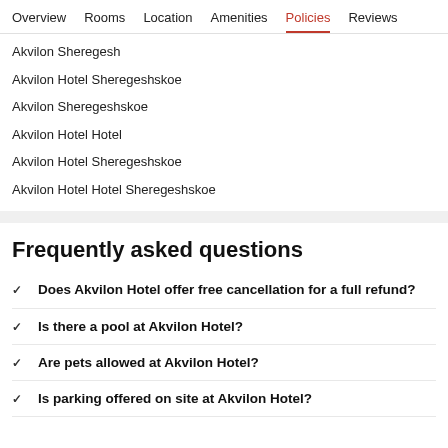Overview | Rooms | Location | Amenities | Policies | Reviews
Akvilon Sheregesh
Akvilon Hotel Sheregeshskoe
Akvilon Sheregeshskoe
Akvilon Hotel Hotel
Akvilon Hotel Sheregeshskoe
Akvilon Hotel Hotel Sheregeshskoe
Frequently asked questions
Does Akvilon Hotel offer free cancellation for a full refund?
Is there a pool at Akvilon Hotel?
Are pets allowed at Akvilon Hotel?
Is parking offered on site at Akvilon Hotel?